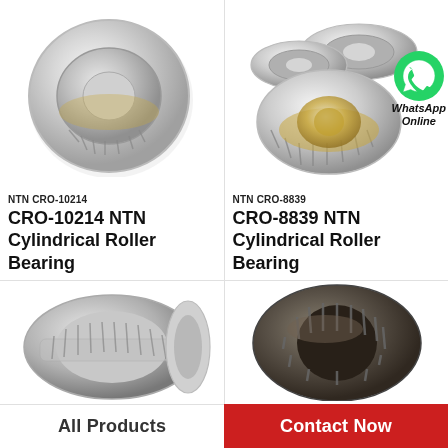[Figure (photo): NTN CRO-10214 cylindrical roller bearing, silver/chrome colored, viewed from an angle showing the rolling elements]
NTN CRO-10214
CRO-10214 NTN Cylindrical Roller Bearing
[Figure (photo): NTN CRO-8839 cylindrical roller bearing components disassembled, showing races and roller cage in silver and gold tones]
[Figure (logo): WhatsApp green circular logo with phone icon, and text WhatsApp Online]
NTN CRO-8839
CRO-8839 NTN Cylindrical Roller Bearing
[Figure (photo): Cylindrical roller bearing, silver/steel colored, tapered roller bearing viewed at angle from top-left]
[Figure (photo): Dark-colored cylindrical roller bearing with visible rollers, viewed from front-left angle]
All Products
Contact Now